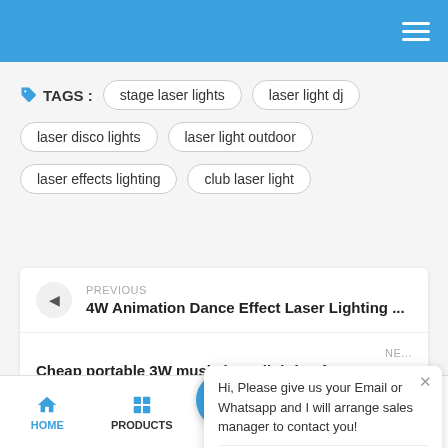Website header with blue background and hamburger menu
TAGS : stage laser lights  laser light dj  laser disco lights  laser light outdoor  laser effects lighting  club laser light
PREVIOUS
4W Animation Dance Effect Laser Lighting ...
NEXT
Cheap portable 3W music laser lighting f...
Hi, Please give us your Email or Whatsapp and I will arrange sales manager to contact you! Type
HOME  PRODUCTS  CONTACT  ABOUT